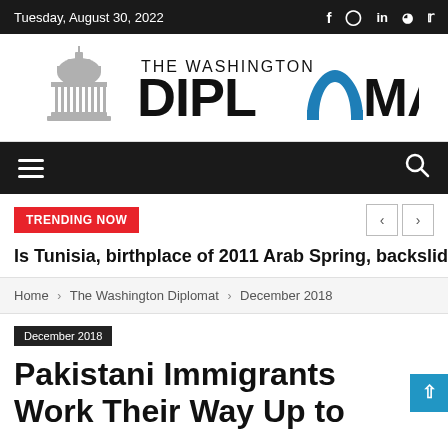Tuesday, August 30, 2022
[Figure (logo): The Washington Diplomat logo with Capitol dome silhouette and blue arch in the letter O]
[Figure (other): Navigation bar with hamburger menu and search icon]
TRENDING NOW
Is Tunisia, birthplace of 2011 Arab Spring, backslidin
Home › The Washington Diplomat › December 2018
December 2018
Pakistani Immigrants Work Their Way Up to